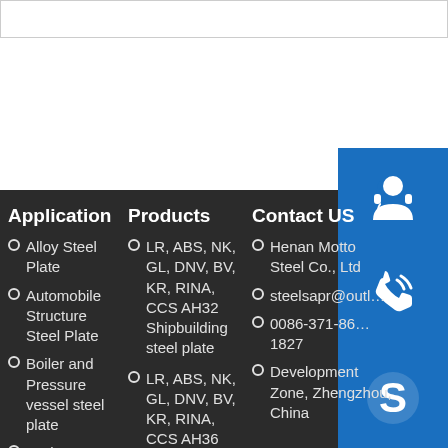Application
Alloy Steel Plate
Automobile Structure Steel Plate
Boiler and Pressure vessel steel plate
Carbon
Products
LR, ABS, NK, GL, DNV, BV, KR, RINA, CCS AH32 Shipbuilding steel plate
LR, ABS, NK, GL, DNV, BV, KR, RINA, CCS AH36
Contact US
Henan Motto Steel Co., Ltd
steelsapr@outl...
0086-371-86... 1827
Development Zone, Zhengzhou, China
[Figure (illustration): Customer support / headset icon in blue square]
[Figure (illustration): Phone / call icon in blue square]
[Figure (illustration): Skype icon in blue square]